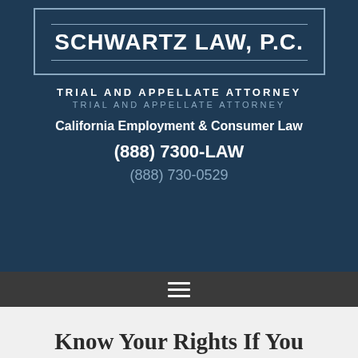[Figure (logo): Schwartz Law, P.C. logo with border box and horizontal lines]
TRIAL AND APPELLATE ATTORNEY
TRIAL AND APPELLATE ATTORNEY
California Employment & Consumer Law
(888) 7300-LAW
(888) 730-0529
[Figure (other): Hamburger menu icon (three horizontal lines)]
Know Your Rights If You Are Beneficiaries